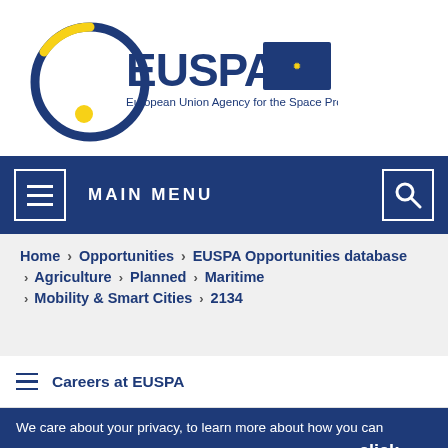[Figure (logo): EUSPA – European Union Agency for the Space Programme logo with EU flag]
MAIN MENU
Home > Opportunities > EUSPA Opportunities database > Agriculture > Planned > Maritime > Mobility & Smart Cities > 2134
Careers at EUSPA
We care about your privacy, to learn more about how you can manage your consent in relation to cookies and analytics click here